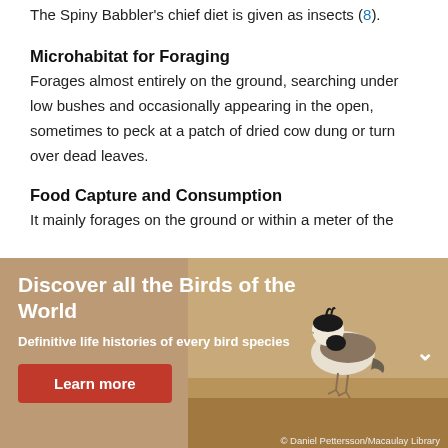The Spiny Babbler's chief diet is given as insects (8).
Microhabitat for Foraging
Forages almost entirely on the ground, searching under low bushes and occasionally appearing in the open, sometimes to peck at a patch of dried cow dung or turn over dead leaves.
Food Capture and Consumption
It mainly forages on the ground or within a meter of the
[Figure (photo): Promotional banner with tan/brown background showing a bird (horned lark or similar species) standing on sandy ground. White bold text reads 'Discover all the Birds of the World' with subtitle 'Definitive life histories of every bird species' and a red 'Learn more' button. A white chevron/arrow icon appears on the right side.]
© Daniel Pettersson/Macaulay Library